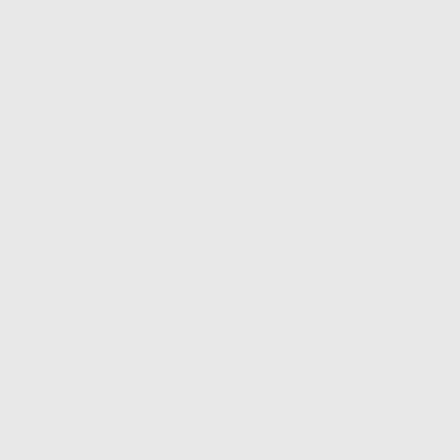Before they bega imaging, and the in which they we appeared one, tw
“What was partic with plasma Ome already positively
After six months —the participant stage, during the population was r
“So many of the leaving this uniqu and associate pr the brain achieve we absolutely ca
Although the effe determine the br that removing Om mood as well as